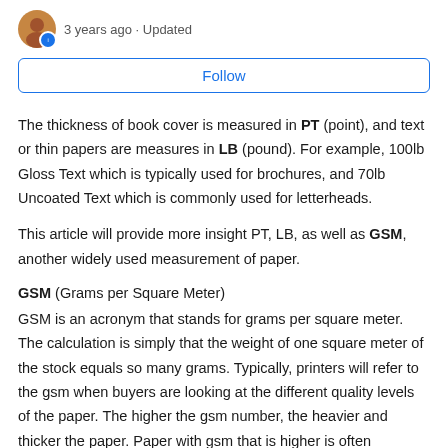3 years ago · Updated
Follow
The thickness of book cover is measured in PT (point), and text or thin papers are measures in LB (pound). For example, 100lb Gloss Text which is typically used for brochures, and 70lb Uncoated Text which is commonly used for letterheads.
This article will provide more insight PT, LB, as well as GSM, another widely used measurement of paper.
GSM (Grams per Square Meter)
GSM is an acronym that stands for grams per square meter. The calculation is simply that the weight of one square meter of the stock equals so many grams. Typically, printers will refer to the gsm when buyers are looking at the different quality levels of the paper. The higher the gsm number, the heavier and thicker the paper. Paper with gsm that is higher is often considered higher quality paper stocks due